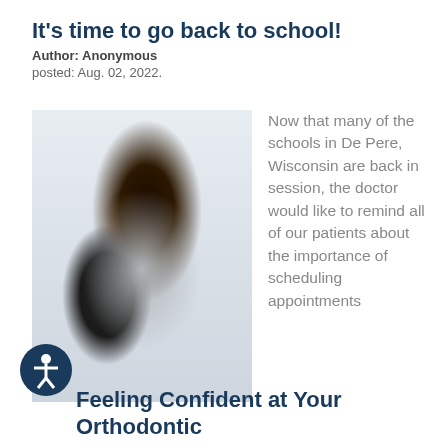It's time to go back to school!
Author: Anonymous
posted: Aug. 02, 2022.
[Figure (photo): Young woman with dark hair wearing a striped shirt and carrying a black backpack, smiling, standing in front of a blurred window background — a back-to-school photo.]
Now that many of the schools in De Pere, Wisconsin are back in session, the doctor would like to remind all of our patients about the importance of scheduling appointments
Feeling Confident at Your Orthodontic